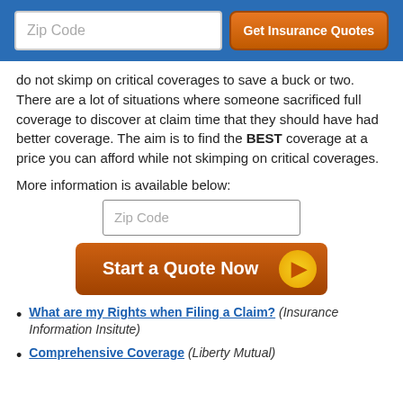Zip Code | Get Insurance Quotes
do not skimp on critical coverages to save a buck or two. There are a lot of situations where someone sacrificed full coverage to discover at claim time that they should have had better coverage. The aim is to find the BEST coverage at a price you can afford while not skimping on critical coverages.
More information is available below:
[Figure (other): Zip Code input field]
[Figure (other): Start a Quote Now button with arrow circle]
What are my Rights when Filing a Claim? (Insurance Information Insitute)
Comprehensive Coverage (Liberty Mutual)